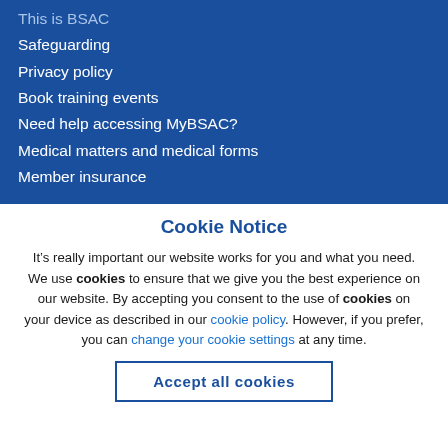Safeguarding
Privacy policy
Book training events
Need help accessing MyBSAC?
Medical matters and medical forms
Member insurance
Cookie Notice
It’s really important our website works for you and what you need. We use cookies to ensure that we give you the best experience on our website. By accepting you consent to the use of cookies on your device as described in our cookie policy. However, if you prefer, you can change your cookie settings at any time.
Accept all cookies